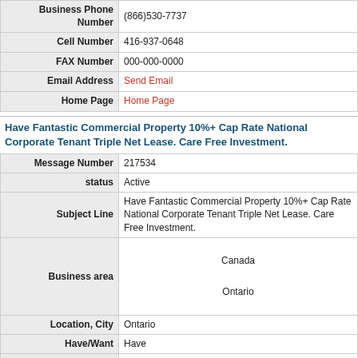| Field | Value |
| --- | --- |
| Business Phone Number | (866)530-7737 |
| Cell Number | 416-937-0648 |
| FAX Number | 000-000-0000 |
| Email Address | Send Email |
| Home Page | Home Page |
Have Fantastic Commercial Property 10%+ Cap Rate National Corporate Tenant Triple Net Lease. Care Free Investment.
| Field | Value |
| --- | --- |
| Message Number | 217534 |
| status | Active |
| Subject Line | Have Fantastic Commercial Property 10%+ Cap Rate National Corporate Tenant Triple Net Lease. Care Free Investment. |
| Business area | Canada
Ontario |
| Location, City | Ontario |
| Have/Want | Have |
| Business category | Shopping Centres/Strip Plazas/Retail Commercial Buildings/Hotels/Motels Sites Commercial and Industrial |